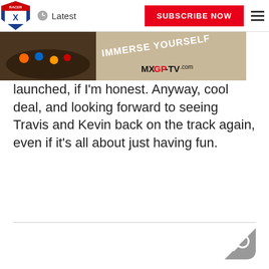Racer X | Latest | SUBSCRIBE NOW
[Figure (photo): MXGP-TV.com advertisement banner with motocross riders and text 'IMMERSE YOURSELF' and 'MXGP-TV.com']
launched, if I'm honest. Anyway, cool deal, and looking forward to seeing Travis and Kevin back on the track again, even if it's all about just having fun.
[Figure (other): Search icon button (magnifying glass) in grey]